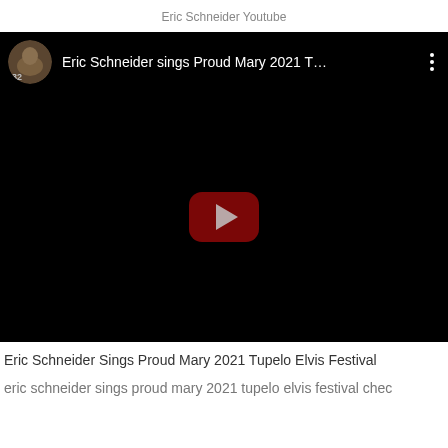Eric Schneider Youtube
[Figure (screenshot): YouTube video embed showing 'Eric Schneider sings Proud Mary 2021 T…' with black background, channel avatar, video title bar, three-dot menu, and YouTube play button in center]
Eric Schneider Sings Proud Mary 2021 Tupelo Elvis Festival
eric schneider sings proud mary 2021 tupelo elvis festival chec